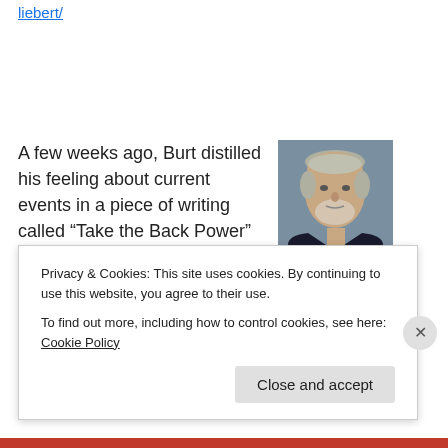liebert/
A few weeks ago, Burt distilled his feeling about current events in a piece of writing called “Take the Back Power”
[Figure (photo): Portrait photo of an older man in a dark suit and striped tie, with grey hair and a beard, against a grey background.]
http://outofthecagenow.blogspot.com/2011/09/take-back-power-by-burt-liebert-it-isnt.html
Privacy & Cookies: This site uses cookies. By continuing to use this website, you agree to their use.
To find out more, including how to control cookies, see here: Cookie Policy
Close and accept